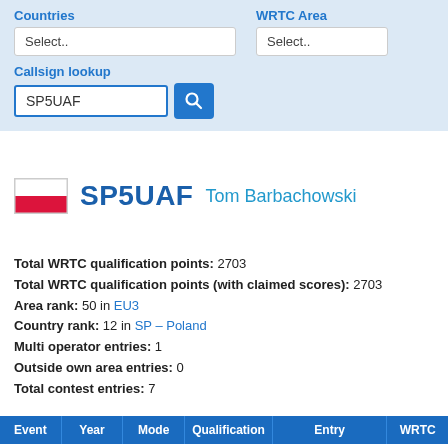Countries
WRTC Area
Select..
Select..
Callsign lookup
SP5UAF
SP5UAF Tom Barbachowski
Total WRTC qualification points: 2703
Total WRTC qualification points (with claimed scores): 2703
Area rank: 50 in EU3
Country rank: 12 in SP – Poland
Multi operator entries: 1
Outside own area entries: 0
Total contest entries: 7
| Event | Year | Mode | Qualification | Entry | WRTC |
| --- | --- | --- | --- | --- | --- |